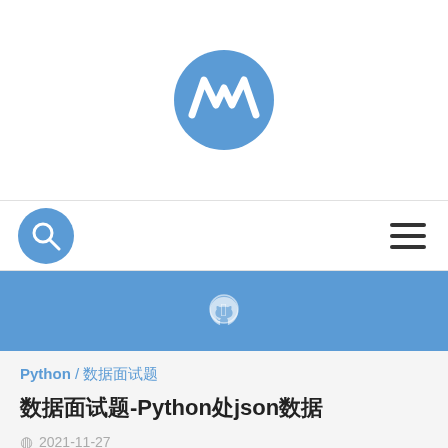[Figure (logo): Circular blue logo with white stylized MW/mountain shape]
[Figure (illustration): Search icon (magnifying glass) in blue circle on left, hamburger menu icon on right]
[Figure (illustration): Blue banner with GitHub cat icon in center]
Python / 数据处理
数据面试题-Python处理json数据
2021-11-27
难度 5
stackoverflow相关问题
数据处理相关面试题汇总